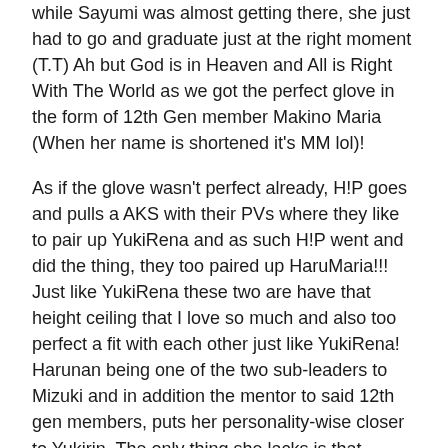while Sayumi was almost getting there, she just had to go and graduate just at the right moment (T.T) Ah but God is in Heaven and All is Right With The World as we got the perfect glove in the form of 12th Gen member Makino Maria (When her name is shortened it's MM lol)!
As if the glove wasn't perfect already, H!P goes and pulls a AKS with their PVs where they like to pair up YukiRena and as such H!P went and did the thing, they too paired up HaruMaria!!! Just like YukiRena these two are have that height ceiling that I love so much and also too perfect a fit with each other just like YukiRena! Harunan being one of the two sub-leaders to Mizuki and in addition the mentor to said 12th gen members, puts her personality-wise closer to Yukirin. The only thing she lacks is that Blackness! Maria is still very new to the scenes so I haven't gotten used to her just yet but I can already tell her personality is